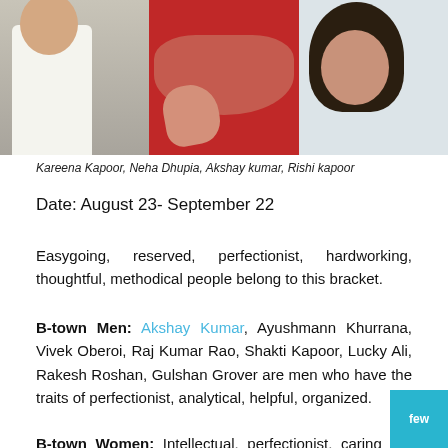[Figure (photo): Three panel photo strip showing Bollywood celebrities: a man in white suit (left panel), a woman in red dress with jewelry (center panel), and a woman with dark hair in white outfit (right panel)]
Kareena Kapoor, Neha Dhupia, Akshay kumar, Rishi kapoor
Date: August 23- September 22
Easygoing, reserved, perfectionist, hardworking, thoughtful, methodical people belong to this bracket.
B-town Men: Akshay Kumar, Ayushmann Khurrana, Vivek Oberoi, Raj Kumar Rao, Shakti Kapoor, Lucky Ali, Rakesh Roshan, Gulshan Grover are men who have the traits of perfectionist, analytical, helpful, organized.
B-town Women: Intellectual, perfectionist, caring are the traits of Virgo women and Bollywood beauties in this bracket